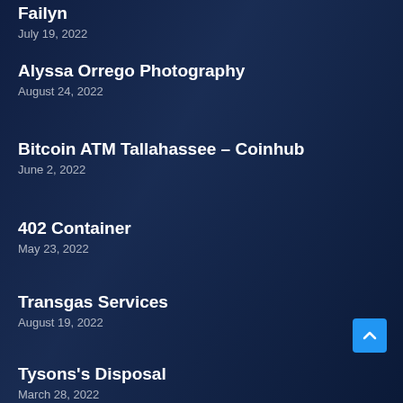Failyn
July 19, 2022
Alyssa Orrego Photography
August 24, 2022
Bitcoin ATM Tallahassee – Coinhub
June 2, 2022
402 Container
May 23, 2022
Transgas Services
August 19, 2022
Tysons's Disposal
March 28, 2022